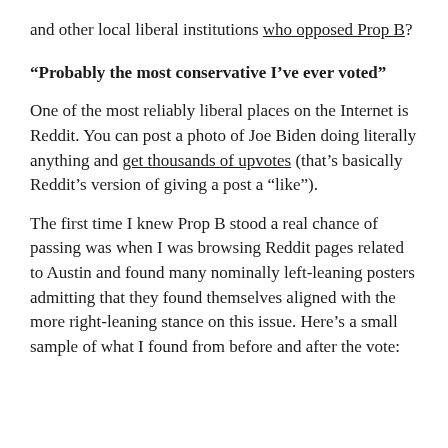and other local liberal institutions who opposed Prop B?
“Probably the most conservative I’ve ever voted”
One of the most reliably liberal places on the Internet is Reddit. You can post a photo of Joe Biden doing literally anything and get thousands of upvotes (that’s basically Reddit’s version of giving a post a “like”).
The first time I knew Prop B stood a real chance of passing was when I was browsing Reddit pages related to Austin and found many nominally left-leaning posters admitting that they found themselves aligned with the more right-leaning stance on this issue. Here’s a small sample of what I found from before and after the vote: